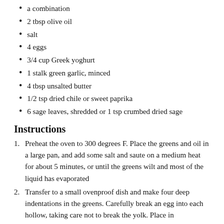a combination
2 tbsp olive oil
salt
4 eggs
3/4 cup Greek yoghurt
1 stalk green garlic, minced
4 tbsp unsalted butter
1/2 tsp dried chile or sweet paprika
6 sage leaves, shredded or 1 tsp crumbed dried sage
Instructions
Preheat the oven to 300 degrees F. Place the greens and oil in a large pan, and add some salt and saute on a medium heat for about 5 minutes, or until the greens wilt and most of the liquid has evaporated
Transfer to a small ovenproof dish and make four deep indentations in the greens. Carefully break an egg into each hollow, taking care not to break the yolk. Place in